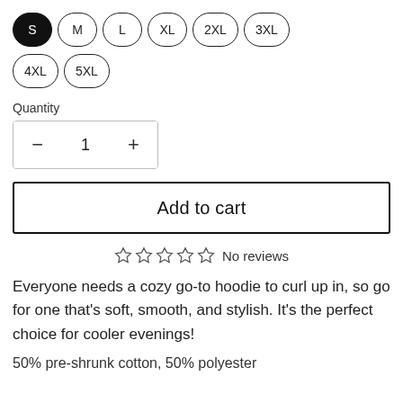S M L XL 2XL 3XL 4XL 5XL (size selector buttons)
Quantity
1
Add to cart
☆ ☆ ☆ ☆ ☆ No reviews
Everyone needs a cozy go-to hoodie to curl up in, so go for one that's soft, smooth, and stylish. It's the perfect choice for cooler evenings!
50% pre-shrunk cotton, 50% polyester